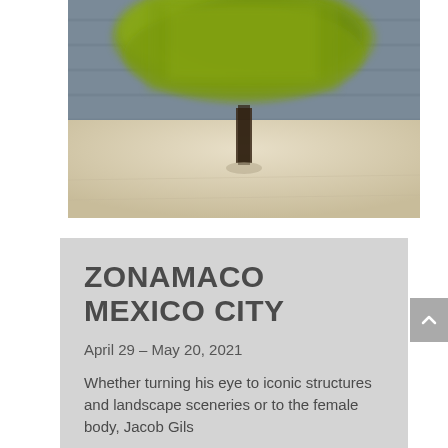[Figure (photo): Blurred motion photograph of a tree with vivid green foliage against a grey background, with a sandy/cream colored ground below. The image has an impressionistic, motion-blur effect.]
ZONAMACO MEXICO CITY
April 29 – May 20, 2021
Whether turning his eye to iconic structures and landscape sceneries or to the female body, Jacob Gils